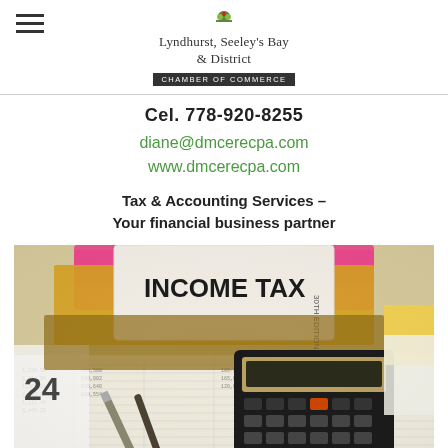Lyndhurst, Seeley's Bay & District CHAMBER OF COMMERCE
Cel. 778-920-8255
diane@dmcerecpa.com
www.dmcerecpa.com
Tax & Accounting Services – Your financial business partner
[Figure (photo): Photo of an income tax book stacked with folders and documents, with a calculator and pens on top of financial spreadsheets]